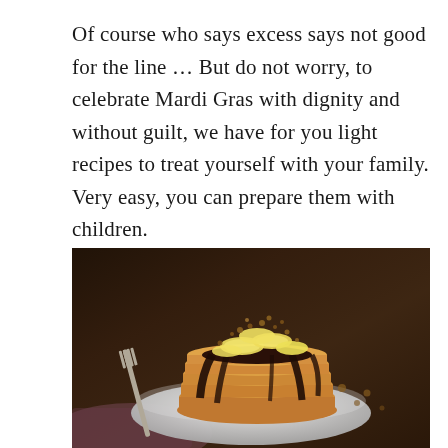Of course who says excess says not good for the line … But do not worry, to celebrate Mardi Gras with dignity and without guilt, we have for you light recipes to treat yourself with your family. Very easy, you can prepare them with children.
[Figure (photo): A stack of pancakes on a white plate topped with chocolate sauce drizzled down the sides, banana slices, and crushed nuts. A fork rests beside the plate on a dark wooden surface.]